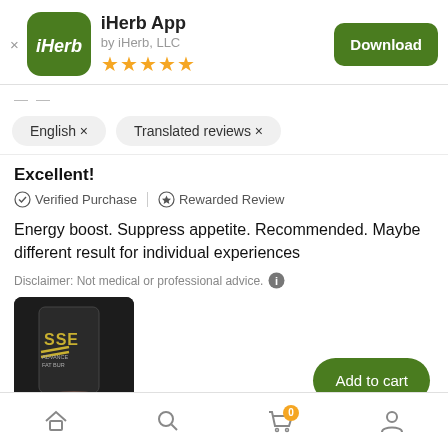[Figure (screenshot): iHerb app icon - green rounded square with white italic iHerb text]
iHerb App
by iHerb, LLC
[Figure (other): Five gold stars rating]
Download
English ×
Translated reviews ×
Excellent!
✓ Verified Purchase | ✦ Rewarded Review
Energy boost. Suppress appetite. Recommended. Maybe different result for individual experiences
Disclaimer: Not medical or professional advice.
[Figure (photo): Photo of a dark supplement bottle labeled SSE Advanced Fat Burner held by a hand]
Add to cart
Home | Search | Cart (0) | Account